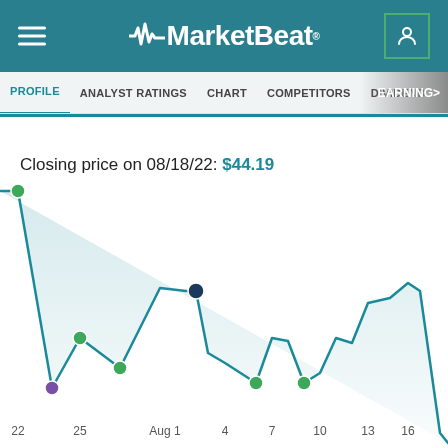MarketBeat
PROFILE  ANALYST RATINGS  CHART  COMPETITORS  DIVIDEND  EARNINGS
Closing price on 08/18/22: $44.19
[Figure (line-chart): Line chart showing stock closing prices from around July 22 to August 16, 2022. Price starts high (~top of chart) around July 22, drops sharply to a low around July 22 bottom, recovers to mid-level around Aug 1, dips again around Aug 4, then gradually rises toward Aug 16. Highlighted data points shown with colored dots at: Jul 22 (green, top), Jul 22 (purple, bottom), Jul 25 (green), Aug 1 (dark blue/navy peak), Aug 4 (green low), Aug 7 (green), with final closing price $44.19 on 08/18/22.]